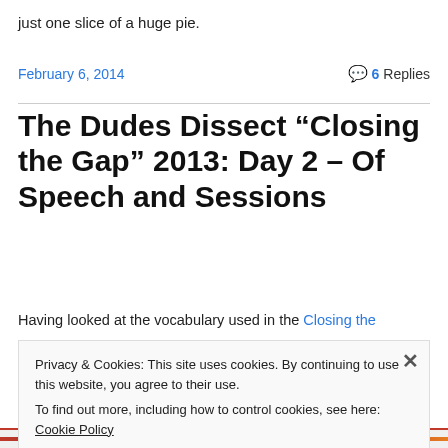just one slice of a huge pie.
February 6, 2014
6 Replies
The Dudes Dissect “Closing the Gap” 2013: Day 2 – Of Speech and Sessions
Having looked at the vocabulary used in the Closing the Gap 2013 conference, we…
Privacy & Cookies: This site uses cookies. By continuing to use this website, you agree to their use.
To find out more, including how to control cookies, see here: Cookie Policy
Close and accept